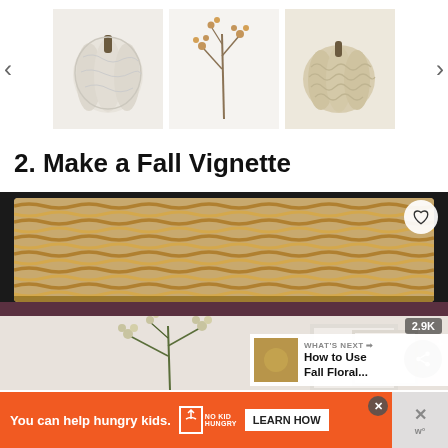[Figure (photo): Carousel of fall decoration products: white fuzzy pumpkin, dried floral stem branch, cream knitted/woven pumpkin, with left and right navigation arrows]
2. Make a Fall Vignette
[Figure (photo): Large wicker/seagrass basket on a dark wood shelf, with fall botanical arrangement below, white frames visible. Heart favorite button, share button with 2.9K count, and 'WHAT'S NEXT: How to Use Fall Floral...' overlay visible.]
[Figure (other): Advertisement banner: orange background with 'You can help hungry kids.' text, No Kid Hungry logo, and LEARN HOW button. X close button. Right side shows another close button and partial content.]